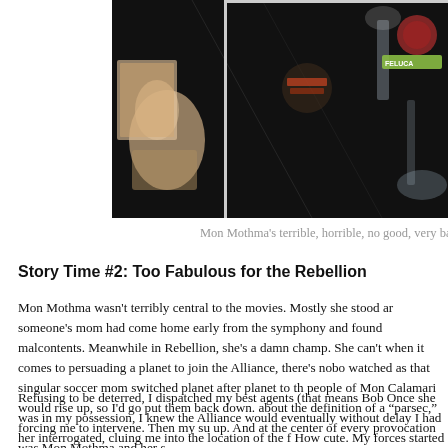[Figure (photo): A tabletop game board showing miniature figures and tokens on a dark surface, including what appears to be Star Wars Rebellion board game components with character standees and planet tokens. A green label reading 'FELUCA' is visible in the upper right area.]
Mon Mothma's terrible, horrible, no good, very bad
Story Time #2: Too Fabulous for the Rebellion
Mon Mothma wasn't terribly central to the movies. Mostly she stood ar someone's mom had come home early from the symphony and found malcontents. Meanwhile in Rebellion, she's a damn champ. She can't when it comes to persuading a planet to join the Alliance, there's nobo watched as that singular soccer mom switched planet after planet to th people of Mon Calamari would rise up, so I'd go put them back down. about the definition of a "parsec," forcing me to intervene. Then my su up. And at the center of every provocation was Mon Mothma and her s
Refusing to be deterred, I dispatched my best agents (that means Bob Once she was in my possession, I knew the Alliance would eventually without delay I had her interrogated, cluing me into the location of the f How cute. My forces started closing in, the Rebels tucked their tail he